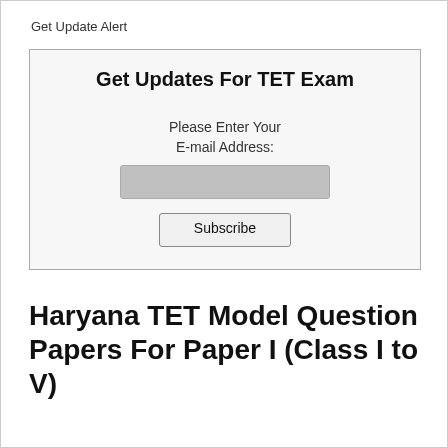Get Update Alert
[Figure (screenshot): A subscription widget with title 'Get Updates For TET Exam', a label 'Please Enter Your E-mail Address:', a grey email input box, and a Subscribe button.]
Haryana TET Model Question Papers For Paper I (Class I to V)